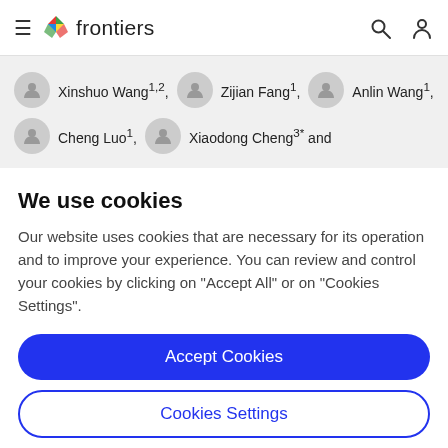frontiers
Xinshuo Wang1,2, Zijian Fang1, Anlin Wang1, Cheng Luo1, Xiaodong Cheng3* and
We use cookies
Our website uses cookies that are necessary for its operation and to improve your experience. You can review and control your cookies by clicking on "Accept All" or on "Cookies Settings".
Accept Cookies
Cookies Settings